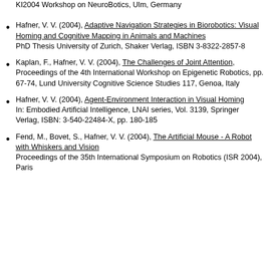KI2004 Workshop on NeuroBotics, Ulm, Germany
Hafner, V. V. (2004), Adaptive Navigation Strategies in Biorobotics: Visual Homing and Cognitive Mapping in Animals and Machines
PhD Thesis University of Zurich, Shaker Verlag, ISBN 3-8322-2857-8
Kaplan, F., Hafner, V. V. (2004), The Challenges of Joint Attention,
Proceedings of the 4th International Workshop on Epigenetic Robotics, pp. 67-74, Lund University Cognitive Science Studies 117, Genoa, Italy
Hafner, V. V. (2004), Agent-Environment Interaction in Visual Homing
In: Embodied Artificial Intelligence, LNAI series, Vol. 3139, Springer Verlag, ISBN: 3-540-22484-X, pp. 180-185
Fend, M., Bovet, S., Hafner, V. V. (2004), The Artificial Mouse - A Robot with Whiskers and Vision
Proceedings of the 35th International Symposium on Robotics (ISR 2004), Paris